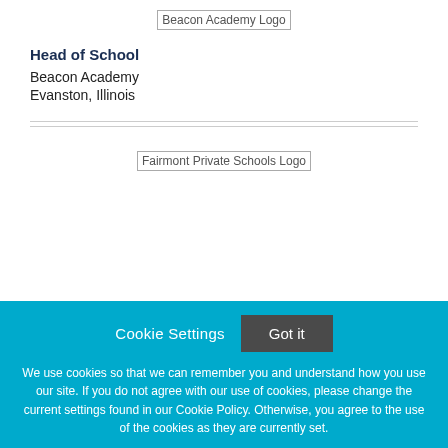[Figure (logo): Beacon Academy Logo placeholder image]
Head of School
Beacon Academy
Evanston, Illinois
[Figure (logo): Fairmont Private Schools Logo placeholder image]
Cookie Settings
Got it
We use cookies so that we can remember you and understand how you use our site. If you do not agree with our use of cookies, please change the current settings found in our Cookie Policy. Otherwise, you agree to the use of the cookies as they are currently set.